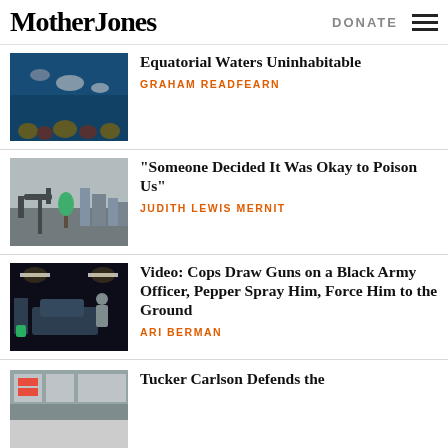Mother Jones | DONATE
Equatorial Waters Uninhabitable
GRAHAM READFEARN
“Someone Decided It Was Okay to Poison Us”
JUDITH LEWIS MERNIT
Video: Cops Draw Guns on a Black Army Officer, Pepper Spray Him, Force Him to the Ground
ARI BERMAN
Tucker Carlson Defends the